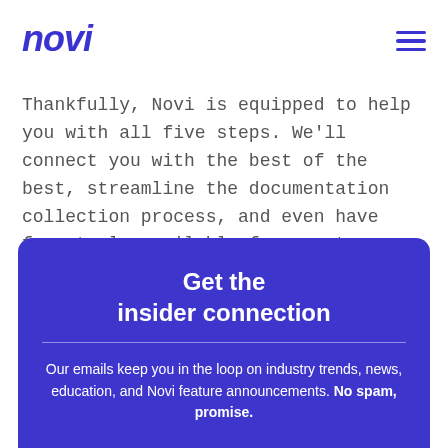novi
Thankfully, Novi is equipped to help you with all five steps. We'll connect you with the best of the best, streamline the documentation collection process, and even have free tools available for you to use right now.
Get the insider connection
Our emails keep you in the loop on industry trends, news, education, and Novi feature announcements. No spam, promise.